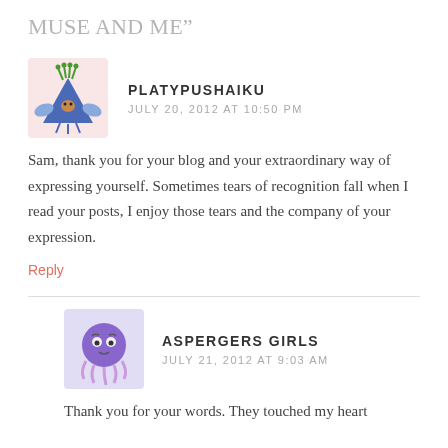MUSE AND ME”
[Figure (illustration): Avatar illustration of a cartoon bird/creature with green tentacles on head and blue wings, on a pink background]
PLATYPUSHAIKU
JULY 20, 2012 AT 10:50 PM
Sam, thank you for your blog and your extraordinary way of expressing yourself. Sometimes tears of recognition fall when I read your posts, I enjoy those tears and the company of your expression.
Reply
[Figure (illustration): Avatar illustration of a purple cartoon octopus/jellyfish creature on a lavender background]
ASPERGERS GIRLS
JULY 21, 2012 AT 9:03 AM
Thank you for your words. They touched my heart